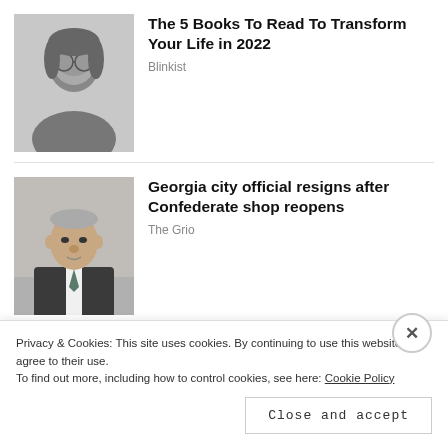[Figure (photo): Black and white portrait of a young man with long hair and round glasses]
The 5 Books To Read To Transform Your Life in 2022
Blinkist
[Figure (photo): Portrait of an older man in a dark suit with a tie, in front of a blurred background]
Georgia city official resigns after Confederate shop reopens
The Grio
[Figure (photo): Partial bottom strip image showing people at what appears to be an event]
Privacy & Cookies: This site uses cookies. By continuing to use this website, you agree to their use.
To find out more, including how to control cookies, see here: Cookie Policy
Close and accept